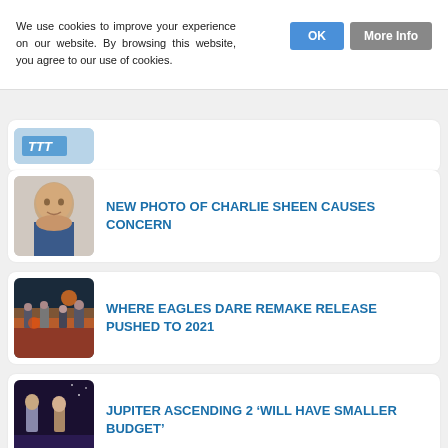We use cookies to improve your experience on our website. By browsing this website, you agree to our use of cookies.
OK
More Info
[Figure (photo): Partial thumbnail of a blue logo at top]
NEW PHOTO OF CHARLIE SHEEN CAUSES CONCERN
[Figure (photo): Headshot of a middle-aged man in a suit, smiling]
WHERE EAGLES DARE REMAKE RELEASE PUSHED TO 2021
[Figure (photo): Movie poster-style image with action figures and explosions]
JUPITER ASCENDING 2 ‘WILL HAVE SMALLER BUDGET’
[Figure (photo): Movie poster with two young actors, text JUPITER ASCENDING]
ROBIN HOOD 2 GETS GO AHEAD
[Figure (photo): Dark image of a warrior figure holding a weapon]